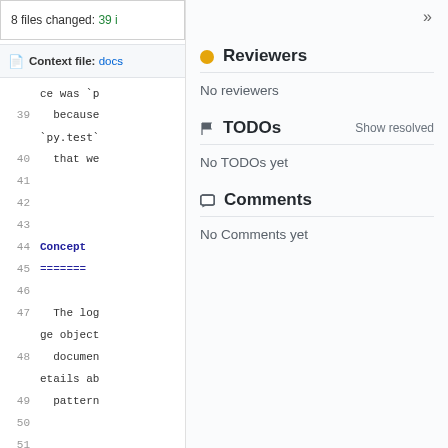8 files changed: 39 i
Context file: docs
ce was `p
39   because
`py.test`
40   that we
41
42
43
44   Concept
45   =======
46
47   The log
ge object
48   documen
etails ab
49   pattern
50
51
52
53   Page Ob
54   ------
55
Reviewers
No reviewers
TODOs
Show resolved
No TODOs yet
Comments
No Comments yet